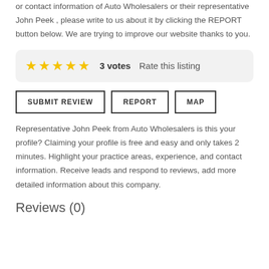or contact information of Auto Wholesalers or their representative John Peek , please write to us about it by clicking the REPORT button below. We are trying to improve our website thanks to you.
3 votes  Rate this listing
SUBMIT REVIEW   REPORT   MAP
Representative John Peek from Auto Wholesalers is this your profile? Claiming your profile is free and easy and only takes 2 minutes. Highlight your practice areas, experience, and contact information. Receive leads and respond to reviews, add more detailed information about this company.
Reviews (0)